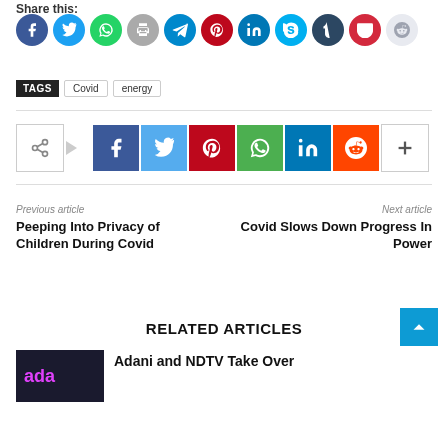Share this:
[Figure (infographic): Row of social media share icons as colored circles: Facebook, Twitter, WhatsApp, Print, Telegram, Pinterest, LinkedIn, Skype, Tumblr, Pocket, Reddit]
TAGS  Covid  energy
[Figure (infographic): Row of social media share buttons: share icon outline, arrow, Facebook, Twitter, Pinterest, WhatsApp, LinkedIn, Reddit, plus button]
Previous article
Peeping Into Privacy of Children During Covid
Next article
Covid Slows Down Progress In Power
RELATED ARTICLES
Adani and NDTV Take Over